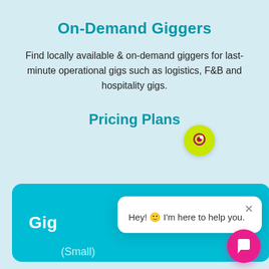On-Demand Giggers
Find locally available & on-demand giggers for last-minute operational gigs such as logistics, F&B and hospitality gigs.
Pricing Plans
[Figure (screenshot): Teal pricing card showing 'Gig (Small)' plan label, with a chat popup overlay showing a yellow-green icon and text 'Hey! I'm here to help you.' with a close X button, and a pink chat bubble button in the bottom right corner.]